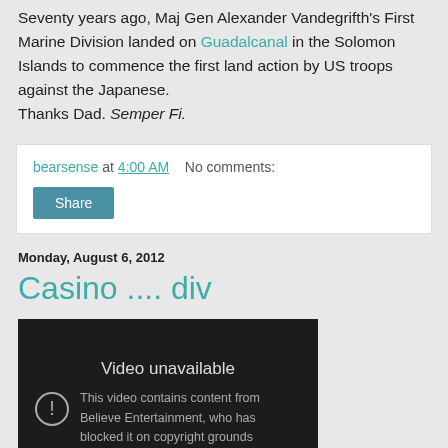Seventy years ago, Maj Gen Alexander Vandegrifth's First Marine Division landed on Guadalcanal in the Solomon Islands to commence the first land action by US troops against the Japanese.
Thanks Dad. Semper Fi.
bearsense at 4:00 AM   No comments:
Share
Monday, August 6, 2012
Casino .... div
[Figure (screenshot): Embedded video player showing 'Video unavailable' message. Text reads: 'This video contains content from Believe Entertainment, who has blocked it on copyright grounds']